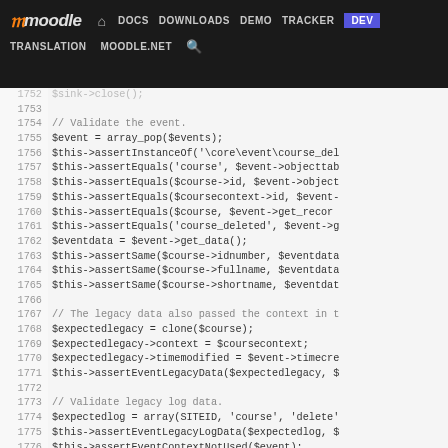moodle | DOCS DOWNLOADS DEMO TRACKER DEV | TRANSLATION MOODLE.NET
[Figure (screenshot): Moodle developer site navigation bar with logo, nav links (DOCS, DOWNLOADS, DEMO, TRACKER, DEV highlighted in blue), and secondary links (TRANSLATION, MOODLE.NET, search icon)]
Code viewer showing PHP test code lines 1752-1778 with line numbers